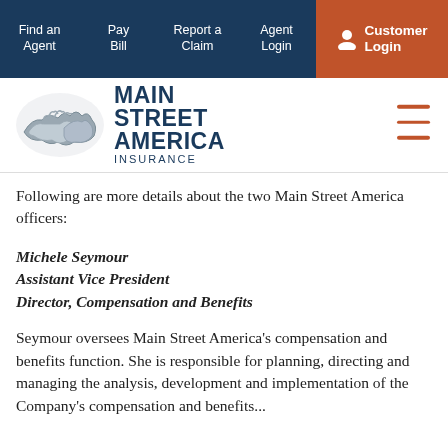Find an Agent | Pay Bill | Report a Claim | Agent Login | Customer Login
[Figure (logo): Main Street America Insurance logo with handshake graphic and bold navy text]
Following are more details about the two Main Street America officers:
Michele Seymour
Assistant Vice President
Director, Compensation and Benefits
Seymour oversees Main Street America's compensation and benefits function. She is responsible for planning, directing and managing the analysis, development and implementation of the Company's compensation and benefits...